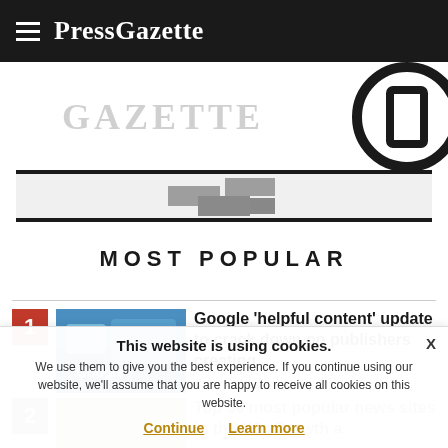PressGazette
[Figure (logo): PressGazette logo text partially visible with circular icon on right]
[Figure (other): Decorative divider with grey square block in center between two thick black lines]
MOST POPULAR
1 Google 'helpful content' update to crack down on publishers creating
2 Top 50 most popular news sites in the US: Growth a...